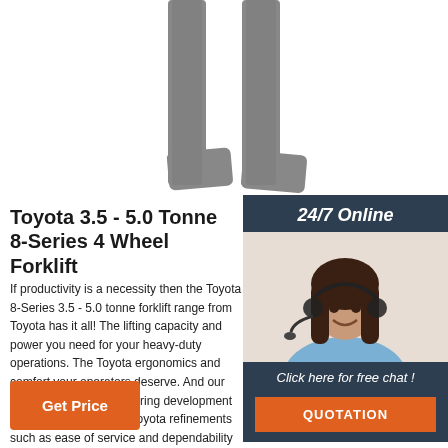[Figure (photo): Two forklift forks viewed from above/front against a white background]
Toyota 3.5 - 5.0 Tonne 8-Series 4 Wheel Forklift
If productivity is a necessity then the Toyota 8-Series 3.5 - 5.0 tonne forklift range from Toyota has it all! The lifting capacity and power you need for your heavy-duty operations. The Toyota ergonomics and comfort your operators deserve. And our customer field testing during development produces those subtle Toyota refinements such as ease of service and dependability that make it even better value.
[Figure (photo): Customer service representative woman with headset smiling, shown in a dark navy sidebar panel with 24/7 Online header, Click here for free chat text, and QUOTATION button]
Get Price